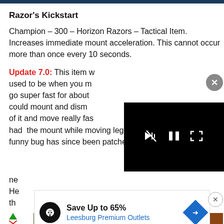Razor's Kickstart
Champion – 300 – Horizon Razors – Tactical Item. Increases immediate mount acceleration. This cannot occur more than once every 10 seconds.
Update 7.0: This item w... used to be when you mo... go super fast for about... could mount and dism... of it and move really fas... had the mount while moving legacy perk. This funny bug has since been patched as it was ne... He... th...
[Figure (screenshot): Video player overlay with black background showing muted, pause, and fullscreen control icons]
[Figure (infographic): Advertisement overlay: Save Up to 65% - Leesburg Premium Outlets with logo and navigation icon]